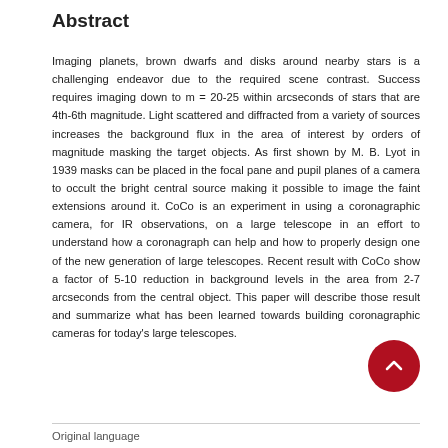Abstract
Imaging planets, brown dwarfs and disks around nearby stars is a challenging endeavor due to the required scene contrast. Success requires imaging down to m = 20-25 within arcseconds of stars that are 4th-6th magnitude. Light scattered and diffracted from a variety of sources increases the background flux in the area of interest by orders of magnitude masking the target objects. As first shown by M. B. Lyot in 1939 masks can be placed in the focal pane and pupil planes of a camera to occult the bright central source making it possible to image the faint extensions around it. CoCo is an experiment in using a coronagraphic camera, for IR observations, on a large telescope in an effort to understand how a coronagraph can help and how to properly design one of the new generation of large telescopes. Recent result with CoCo show a factor of 5-10 reduction in background levels in the area from 2-7 arcseconds from the central object. This paper will describe those result and summarize what has been learned towards building coronagraphic cameras for today's large telescopes.
Original language